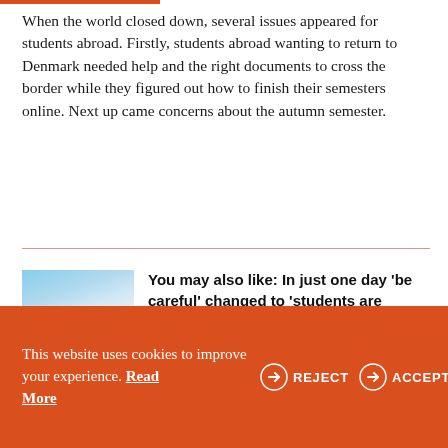When the world closed down, several issues appeared for students abroad. Firstly, students abroad wanting to return to Denmark needed help and the right documents to cross the border while they figured out how to finish their semesters online. Next up came concerns about the autumn semester.
[Figure (photo): Airplane flying above clouds against a blue sky]
You may also like: In just one day 'be careful' changed to 'students are required to come home' written with Caps Lock
This website uses cookies to improve your experience. Read More
REJECT
ACCEPT